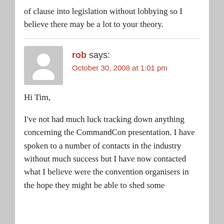of clause into legislation without lobbying so I believe there may be a lot to your theory.
rob says:
October 30, 2008 at 1:01 pm
Hi Tim,
I've not had much luck tracking down anything concerning the CommandCon presentation. I have spoken to a number of contacts in the industry without much success but I have now contacted what I believe were the convention organisers in the hope they might be able to shed some